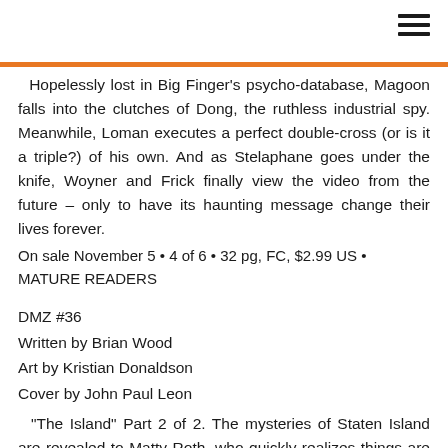Hopelessly lost in Big Finger's psycho-database, Magoon falls into the clutches of Dong, the ruthless industrial spy. Meanwhile, Loman executes a perfect double-cross (or is it a triple?) of his own. And as Stelaphane goes under the knife, Woyner and Frick finally view the video from the future – only to have its haunting message change their lives forever.
On sale November 5 • 4 of 6 • 32 pg, FC, $2.99 US • MATURE READERS
DMZ #36
Written by Brian Wood
Art by Kristian Donaldson
Cover by John Paul Leon
"The Island" Part 2 of 2. The mysteries of Staten Island are revealed to Matty Roth, who quickly realizes things are worse